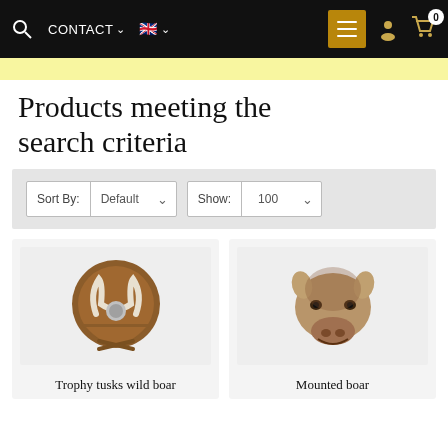CONTACT  [EN flag]  [menu] [user] [cart 0]
Products meeting the search criteria
Sort By: Default    Show: 100
[Figure (photo): Trophy tusks wild boar mounted on a wooden shield with decorative metal emblem]
Trophy tusks wild boar
[Figure (photo): Mounted boar head taxidermy, front-facing view]
Mounted boar